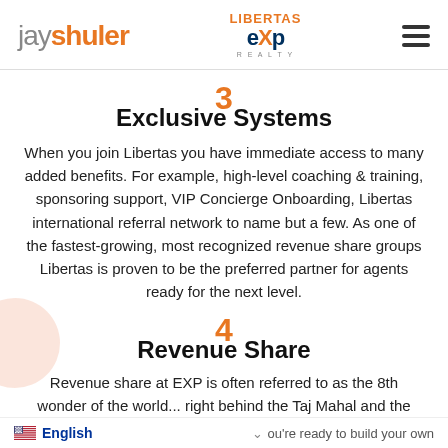jay shuler | LIBERTAS eXp REALTY
3 Exclusive Systems
When you join Libertas you have immediate access to many added benefits. For example, high-level coaching & training, sponsoring support, VIP Concierge Onboarding, Libertas international referral network to name but a few. As one of the fastest-growing, most recognized revenue share groups Libertas is proven to be the preferred partner for agents ready for the next level.
4 Revenue Share
Revenue share at EXP is often referred to as the 8th wonder of the world... right behind the Taj Mahal and the
English | you're ready to build your own